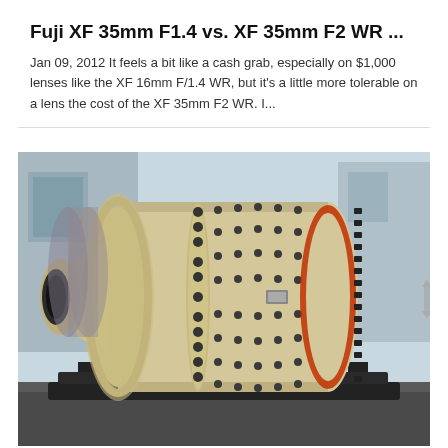Fuji XF 35mm F1.4 vs. XF 35mm F2 WR ...
Jan 09, 2012 It feels a bit like a cash grab, especially on $1,000 lenses like the XF 16mm F/1.4 WR, but it's a little more tolerable on a lens the cost of the XF 35mm F2 WR. I...
[Figure (photo): Industrial ball mill machine — a large cylindrical grinding machine in cream/beige color with bolted flanges, mounted on a black metal frame in an industrial setting. The cylinder has rows of bolts along its body and a large gear ring at one end.]